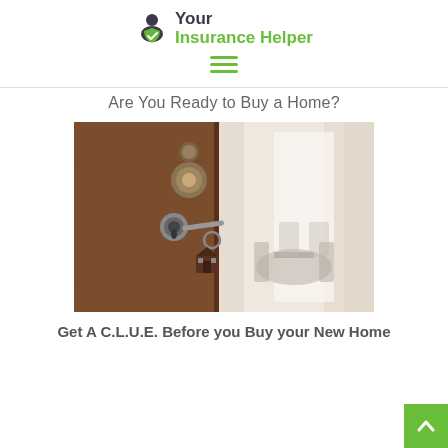Your Insurance Helper
[Figure (logo): Your Insurance Helper logo with person and shield icon in dark navy and green]
[Figure (photo): Close-up of a door lock with a key inserted and a house-shaped keychain, with a blurred dining room in the background]
Are You Ready to Buy a Home?
Get A C.L.U.E. Before you Buy your New Home